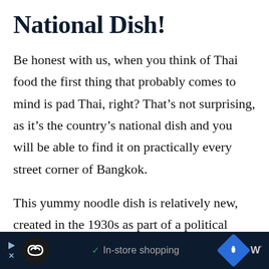National Dish!
Be honest with us, when you think of Thai food the first thing that probably comes to mind is pad Thai, right? That’s not surprising, as it’s the country’s national dish and you will be able to find it on practically every street corner of Bangkok.
This yummy noodle dish is relatively new, created in the 1930s as part of a political campaign to increase nationalism. Pad Thai is actually more
[Figure (other): Advertisement banner at bottom of page with dark navy background showing circular logo icon, navigation/map icon, and In-store shopping text with checkmark]